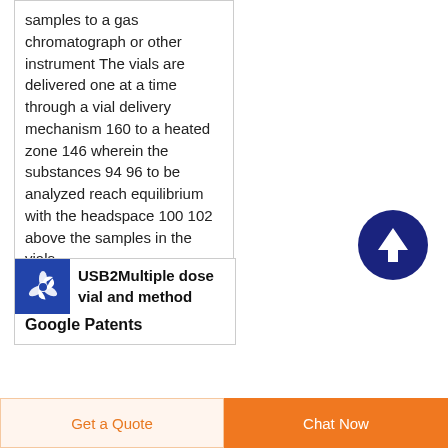samples to a gas chromatograph or other instrument The vials are delivered one at a time through a vial delivery mechanism 160 to a heated zone 146 wherein the substances 94 96 to be analyzed reach equilibrium with the headspace 100 102 above the samples in the vials
[Figure (other): Dark blue circle with upward arrow icon — scroll to top button]
[Figure (logo): Blue square icon with white propeller/fan symbol]
USB2Multiple dose vial and methodGoogle Patents
Get a Quote   Chat Now